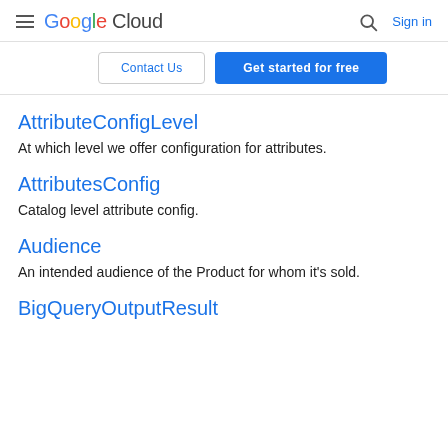Google Cloud — Sign in
Contact Us | Get started for free
AttributeConfigLevel
At which level we offer configuration for attributes.
AttributesConfig
Catalog level attribute config.
Audience
An intended audience of the Product for whom it's sold.
BigQueryOutputResult